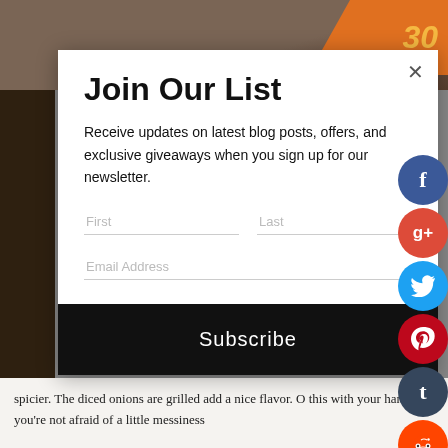[Figure (screenshot): Background image showing a car scene with orange sign and dark tones]
Join Our List
Receive updates on latest blog posts, offers, and exclusive giveaways when you sign up for our newsletter.
First field, Last field, Email Address field
Subscribe button
spicier. The diced onions are grilled add a nice flavor. O… this with your hands if you're not afraid of a little messiness